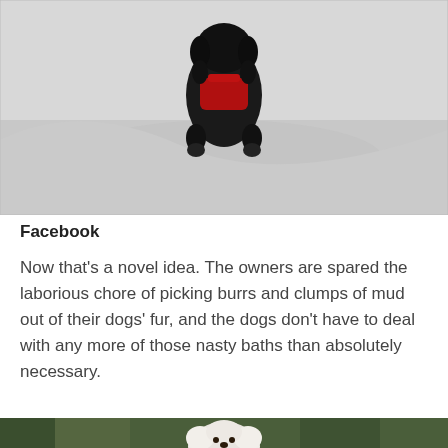[Figure (photo): A small dog wearing a red harness/vest, photographed from above, running or walking on a snowy white surface. The dog appears to be a dark-colored breed against the pale snow background.]
Facebook
Now that’s a novel idea. The owners are spared the laborious chore of picking burrs and clumps of mud out of their dogs’ fur, and the dogs don’t have to deal with any more of those nasty baths than absolutely necessary.
[Figure (photo): A white fluffy dog (appears to be a Goldendoodle or similar breed) photographed outdoors in a wooded/forest setting with green foliage in the background.]